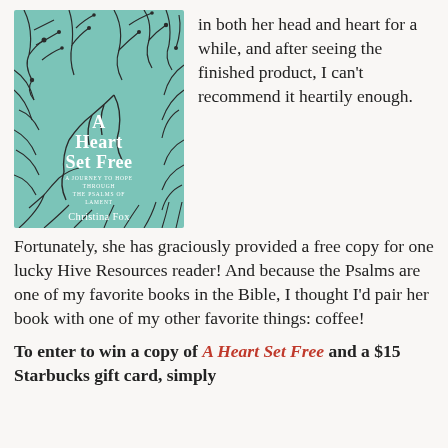[Figure (illustration): Book cover of 'A Heart Set Free: A Journey to Hope Through the Psalms of Lament' by Christina Fox. Teal/mint green background with black branch and floral illustrations. White text for title and author name.]
in both her head and heart for a while, and after seeing the finished product, I can't recommend it heartily enough.
Fortunately, she has graciously provided a free copy for one lucky Hive Resources reader! And because the Psalms are one of my favorite books in the Bible, I thought I'd pair her book with one of my other favorite things: coffee!
To enter to win a copy of A Heart Set Free and a $15 Starbucks gift card, simply